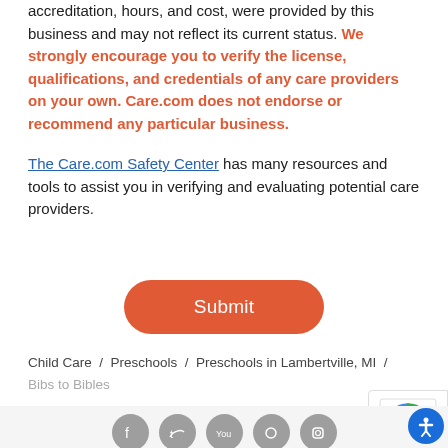accreditation, hours, and cost, were provided by this business and may not reflect its current status. We strongly encourage you to verify the license, qualifications, and credentials of any care providers on your own. Care.com does not endorse or recommend any particular business.
The Care.com Safety Center has many resources and tools to assist you in verifying and evaluating potential care providers.
Submit
Child Care / Preschools / Preschools in Lambertville, MI / Bibs to Bibles